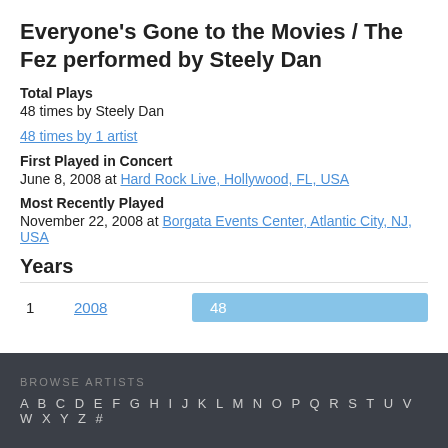Everyone's Gone to the Movies / The Fez performed by Steely Dan
Total Plays
48 times by Steely Dan
48 times by 1 artist
First Played in Concert
June 8, 2008 at Hard Rock Live, Hollywood, FL, USA
Most Recently Played
November 22, 2008 at Borgata Events Center, Atlantic City, NJ, USA
Years
| # | Year | Plays |
| --- | --- | --- |
| 1 | 2008 | 48 |
BROWSE ARTISTS A B C D E F G H I J K L M N O P Q R S T U V W X Y Z #